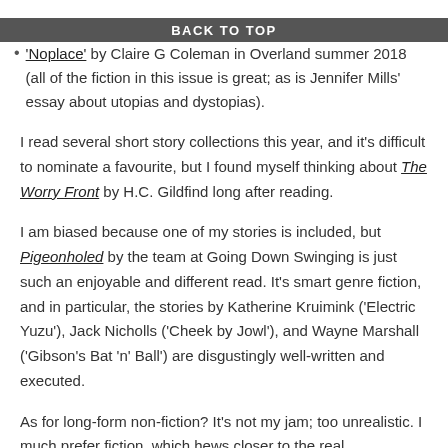BACK TO TOP
'Noplace' by Claire G Coleman in Overland summer 2018 (all of the fiction in this issue is great; as is Jennifer Mills' essay about utopias and dystopias).
I read several short story collections this year, and it's difficult to nominate a favourite, but I found myself thinking about The Worry Front by H.C. Gildfind long after reading.
I am biased because one of my stories is included, but Pigeonholed by the team at Going Down Swinging is just such an enjoyable and different read. It's smart genre fiction, and in particular, the stories by Katherine Kruimink ('Electric Yuzu'), Jack Nicholls ('Cheek by Jowl'), and Wayne Marshall ('Gibson's Bat 'n' Ball') are disgustingly well-written and executed.
As for long-form non-fiction? It's not my jam; too unrealistic. I much prefer fiction, which hews closer to the real.